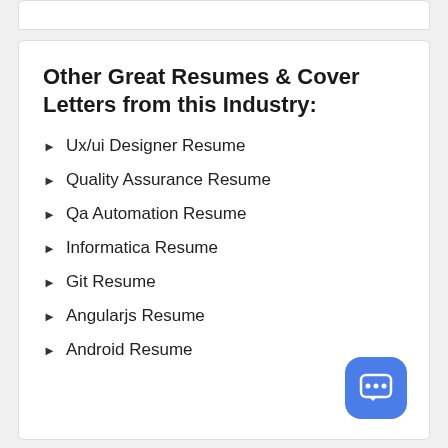Other Great Resumes & Cover Letters from this Industry:
Ux/ui Designer Resume
Quality Assurance Resume
Qa Automation Resume
Informatica Resume
Git Resume
Angularjs Resume
Android Resume